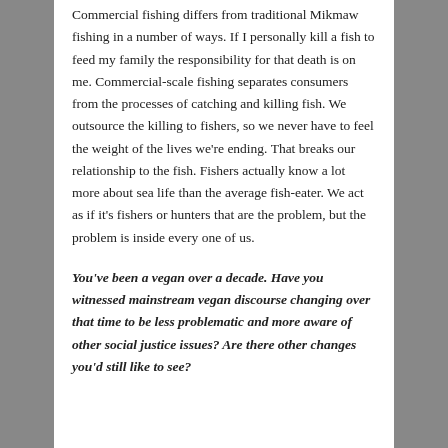Commercial fishing differs from traditional Mikmaw fishing in a number of ways. If I personally kill a fish to feed my family the responsibility for that death is on me. Commercial-scale fishing separates consumers from the processes of catching and killing fish. We outsource the killing to fishers, so we never have to feel the weight of the lives we're ending. That breaks our relationship to the fish. Fishers actually know a lot more about sea life than the average fish-eater. We act as if it's fishers or hunters that are the problem, but the problem is inside every one of us.
You've been a vegan over a decade. Have you witnessed mainstream vegan discourse changing over that time to be less problematic and more aware of other social justice issues? Are there other changes you'd still like to see?